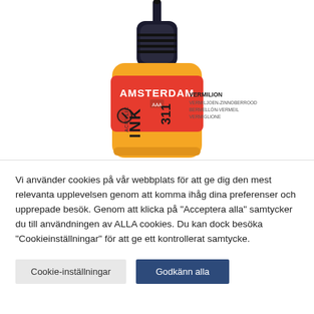[Figure (photo): Close-up photo of an Amsterdam Acrylic Ink bottle, color 311 Vermilion, with a black dropper cap, orange-red label showing the Amsterdam brand name and product details.]
Vi använder cookies på vår webbplats för att ge dig den mest relevanta upplevelsen genom att komma ihåg dina preferenser och upprepade besök. Genom att klicka på "Acceptera alla" samtycker du till användningen av ALLA cookies. Du kan dock besöka "Cookieinställningar" för att ge ett kontrollerat samtycke.
Cookie-inställningar
Godkänn alla